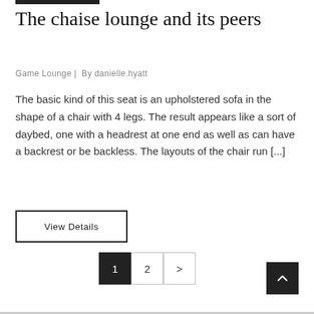The chaise lounge and its peers
Game Lounge | By danielle.hyatt
The basic kind of this seat is an upholstered sofa in the shape of a chair with 4 legs. The result appears like a sort of daybed, one with a headrest at one end as well as can have a backrest or be backless. The layouts of the chair run [...]
View Details
1 2 >